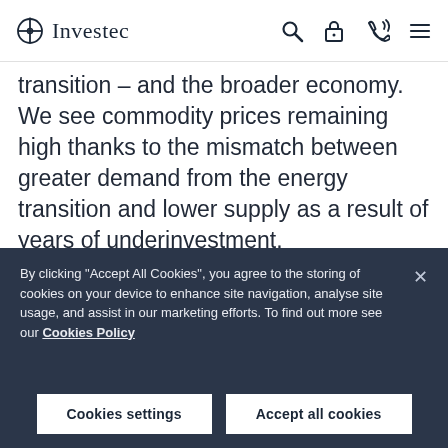Investec
transition – and the broader economy. We see commodity prices remaining high thanks to the mismatch between greater demand from the energy transition and lower supply as a result of years of underinvestment.

While in the short term this outlook may seem less obvious given the increasing likelihood that the US
By clicking "Accept All Cookies", you agree to the storing of cookies on your device to enhance site navigation, analyse site usage, and assist in our marketing efforts. To find out more see our Cookies Policy
Cookies settings   Accept all cookies